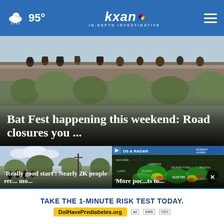95° kxan IN-DEPTH INVESTIGATIVE
[Figure (screenshot): Hero image of people on a bridge/overpass, city scene for Bat Fest story]
Bat Fest happening this weekend: Road closures you ...
[Figure (photo): People standing in line outdoors near a sign, story about Nearly 2K people. Caption: 'Really good start': Nearly 2K people rec... mo...]
[Figure (map): Weather radar map showing storm coverage over Austin area, Texas. Labels: WACO, SAN SABA, LAMPASAS, LLANO, BURNET, GEORGE TOWN, ROCKDA, DRIPPING SPRINGS, AUSTIN, BASTROP, BLANCO, GIDD. Shows MONDAY 4:00PM. Caption: More poc...ts to...]
TAKE THE 1-MINUTE RISK TEST TODAY. DolHavePrediabetes.org